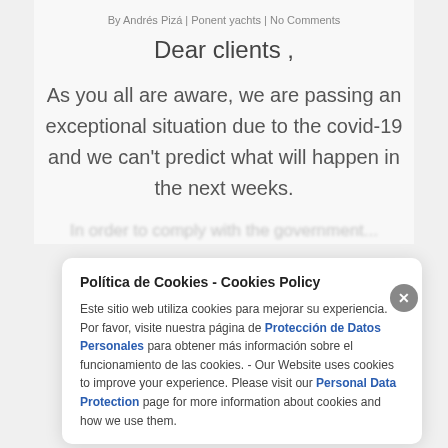By Andrés Pizá | Ponent yachts | No Comments
Dear clients ,
As you all are aware, we are passing an exceptional situation due to the covid-19 and we can't predict what will happen in the next weeks.
In order to comply with the government...
Política de Cookies - Cookies Policy
Este sitio web utiliza cookies para mejorar su experiencia. Por favor, visite nuestra página de Protección de Datos Personales para obtener más información sobre el funcionamiento de las cookies. - Our Website uses cookies to improve your experience. Please visit our Personal Data Protection page for more information about cookies and how we use them.